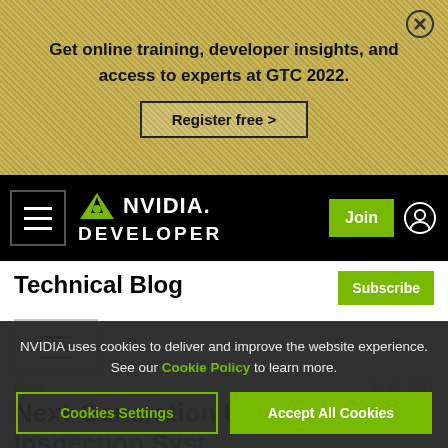Get online training, developer insights, and access to experts at GTC 2022.
Register free >
[Figure (logo): NVIDIA Developer logo with green eye icon]
Technical Blog
Subscribe
News
Jul 10, 2017
Next-Generation Under Vehicle Inspection Syst
By Brad M...
NVIDIA uses cookies to deliver and improve the website experience. See our Cookie Policy to learn more.
Cookies Settings
Accept All Cookies